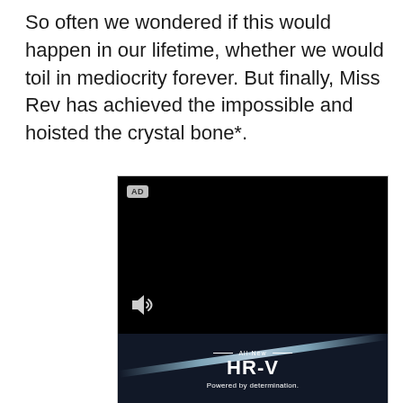So often we wondered if this would happen in our lifetime, whether we would toil in mediocrity forever. But finally, Miss Rev has achieved the impossible and hoisted the crystal bone*.
[Figure (screenshot): A video advertisement with a black video player area showing an 'AD' badge in the top left corner and a speaker/audio icon in the bottom left. Below the video player is a Honda HR-V advertisement section with dark background, light speed-streak accents, the text 'All-New HR-V Powered by determination.' and an image of a dark Honda HR-V car with blue accent dots visible.]